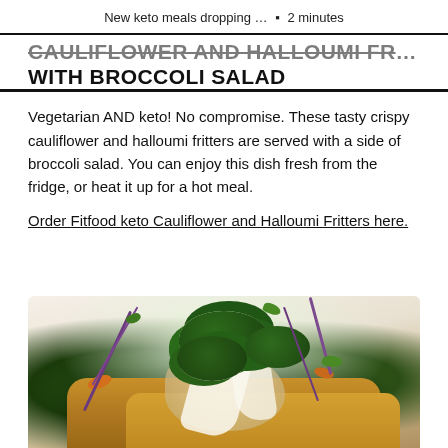New keto meals dropping … • 2 minutes
CAULIFLOWER AND HALLOUMI FRITTERS WITH BROCCOLI SALAD
Vegetarian AND keto! No compromise. These tasty crispy cauliflower and halloumi fritters are served with a side of broccoli salad. You can enjoy this dish fresh from the fridge, or heat it up for a hot meal.
Order Fitfood keto Cauliflower and Halloumi Fritters here.
[Figure (photo): Photo of cauliflower and halloumi fritters topped with broccoli salad, purple cabbage, green herbs, and white creamy sauce drizzle]